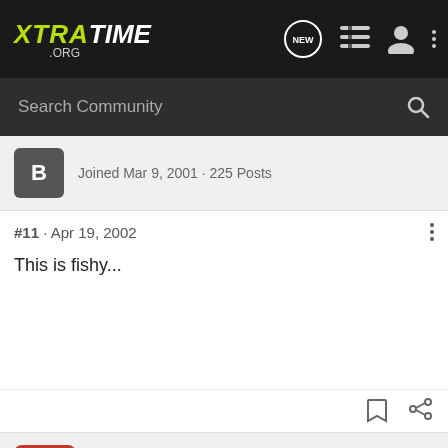XTRATIME .ORG
Search Community
Joined Mar 9, 2001 · 225 Posts
#11 · Apr 19, 2002
This is fishy...
Paolo_Montero · Registered
Joined Jan 14, 2002 · 3,661 Posts